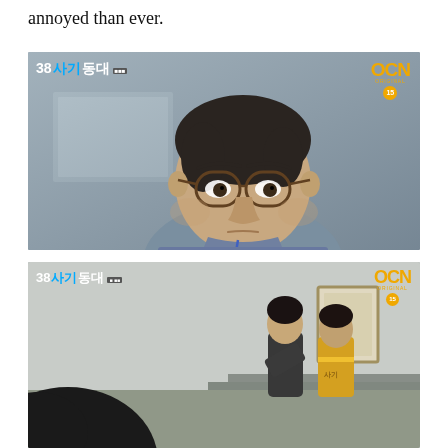annoyed than ever.
[Figure (screenshot): Screenshot from Korean TV drama '38 사기동대' (38 Task Force) on OCN Original showing a heavyset Korean man wearing glasses and a blue-grey collared shirt with a lanyard, looking at the camera with a serious/annoyed expression. OCN Original logo with rating 15 in top right corner, show title in top left.]
[Figure (screenshot): Second screenshot from '38 사기동대' on OCN Original. Dark foreground element partially blocking the lower left view. Two figures visible in the right-center: one in a suit bowing/leaning forward, one in a yellow safety vest, apparently on a staircase or corridor near a framed picture on the wall. OCN Original logo with rating 15 in top right corner.]